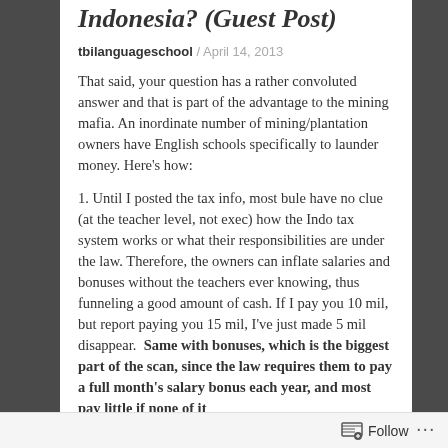Indonesia? (Guest Post)
tbilanguageschool / April 14, 2013
That said, your question has a rather convoluted answer and that is part of the advantage to the mining mafia.  An inordinate number of mining/plantation owners have English schools specifically to launder money.  Here's how:
1. Until I posted the tax info, most bule have no clue (at the teacher level, not exec) how the Indo tax system works or what their responsibilities are under the law.  Therefore, the owners can inflate salaries and bonuses without the teachers ever knowing, thus funneling a good amount of cash. If I pay you 10 mil, but report paying you 15 mil, I've just made 5 mil disappear.  Same with bonuses, which is the biggest part of the scan, since the law requires them to pay a full month's salary bonus each year, and most pay little if none of it
Follow ...